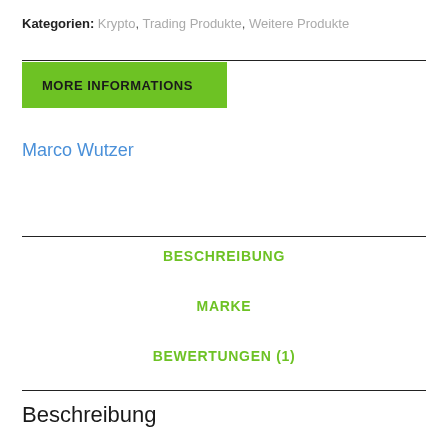Kategorien: Krypto, Trading Produkte, Weitere Produkte
MORE INFORMATIONS
Marco Wutzer
BESCHREIBUNG
MARKE
BEWERTUNGEN (1)
Beschreibung